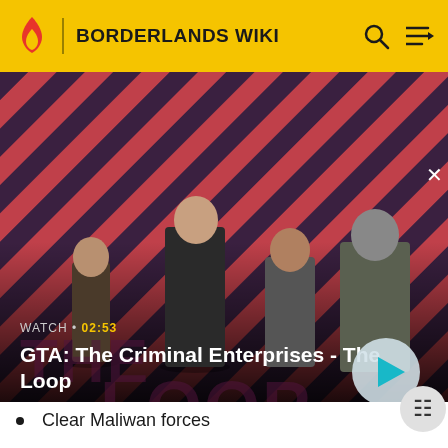BORDERLANDS WIKI
[Figure (screenshot): GTA: The Criminal Enterprises - The Loop video thumbnail with four characters on a red diagonal striped background. Text overlay: WATCH • 02:53, GTA: The Criminal Enterprises - The Loop]
Clear Maliwan forces
Activate elevator
Activate Temple energy
Grab Eridian crystal
Place Eridian crystal